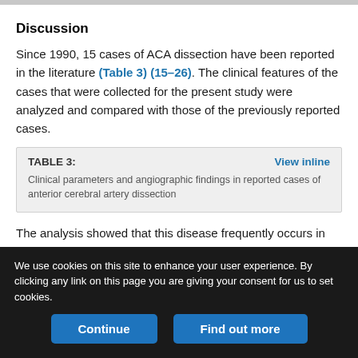Discussion
Since 1990, 15 cases of ACA dissection have been reported in the literature (Table 3) (15–26). The clinical features of the cases that were collected for the present study were analyzed and compared with those of the previously reported cases.
TABLE 3: Clinical parameters and angiographic findings in reported cases of anterior cerebral artery dissection
The analysis showed that this disease frequently occurs in middle-aged persons. The mean patient age in the reported cases was 49.2
We use cookies on this site to enhance your user experience. By clicking any link on this page you are giving your consent for us to set cookies.